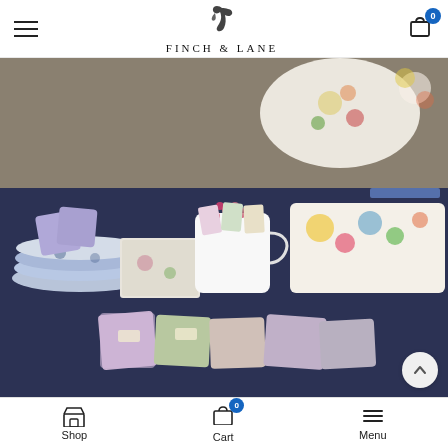Finch & Lane — Navigation header with hamburger menu, logo, and cart icon
[Figure (photo): Retail display table covered with floral-print gifts and homewares including decorated plates, trays, notebooks, a white ceramic pitcher holding dried flowers, small floral cushions, and assorted gift cards arranged on a navy blue tablecloth.]
[Figure (photo): Partial view of a second photo showing star-patterned tableware, gold jewelry items, and an Emma Bridgewater branded product display.]
Shop | Cart 0 | Menu — bottom navigation bar